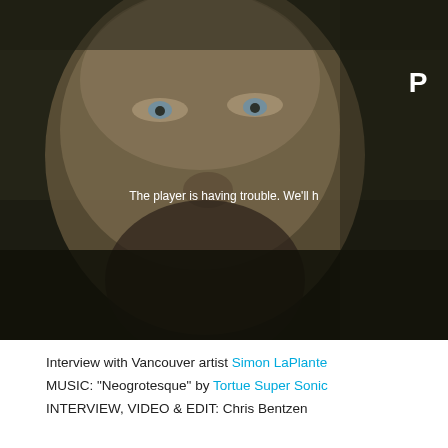[Figure (photo): Close-up portrait of a man's face with blue eyes, dimly lit with a dark background. A video player overlay shows error text 'The player is having trouble. We'll h...' and a large 'P' letter in the upper right corner.]
Interview with Vancouver artist Simon LaPlante
MUSIC: “Neogrotesque” by Tortue Super Sonic
INTERVIEW, VIDEO & EDIT: Chris Bentzen